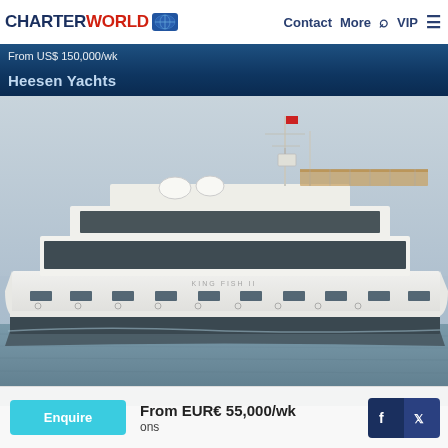CHARTERWORLD | Contact | More | Q | VIP
From US$ 150,000/wk
Heesen Yachts
[Figure (photo): Large luxury motor yacht photographed at sea with masts, radar domes, and multi-deck superstructure, sailing on calm water with hazy sky background]
From EUR€ 55,000/wk
ons
Enquire